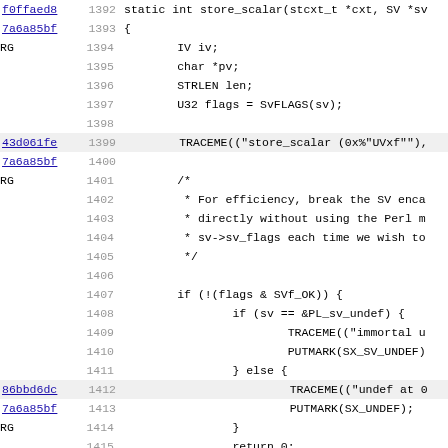[Figure (screenshot): Source code viewer showing C code for store_scalar function with git blame annotations. Lines 1392-1424 are visible. Each line shows a commit hash (as a blue underlined link), line number in gray, and code text in monospace. Some lines have a highlighted background. The code includes function signature, variable declarations, TRACEME calls, a comment block about efficiency, conditional logic checking SVf_OK flag, nested if/else blocks, PUTMARK calls, return statement, and another comment block about storing string representations.]